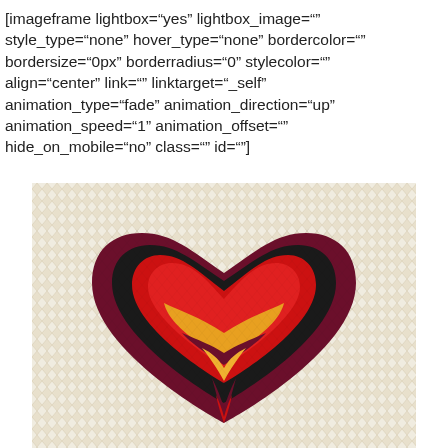[imageframe lightbox="yes" lightbox_image="" style_type="none" hover_type="none" bordercolor="" bordersize="0px" borderradius="0" stylecolor="" align="center" link="" linktarget="_self" animation_type="fade" animation_direction="up" animation_speed="1" animation_offset="" hide_on_mobile="no" class="" id=""]
[Figure (illustration): A knitted/cross-stitch heart pattern on cream background. The heart has concentric color bands: outermost dark burgundy/maroon, then black, then bright red, then golden yellow at the bottom point. The background shows a cream chevron knit texture.]